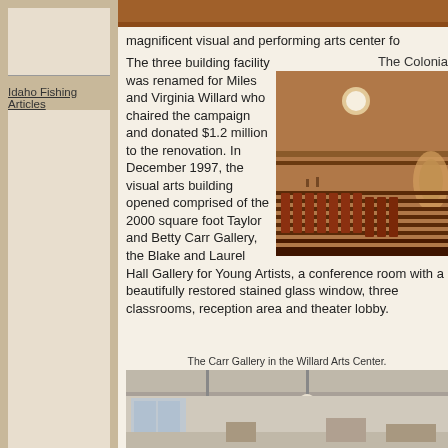Idaho Fishing Articles
[Figure (photo): Interior view of theater seats from above, warm brown tones]
magnificent visual and performing arts center fo
The Colonia
[Figure (photo): Interior of the Colonial theater showing rows of seats and ornate walls]
The three building facility was renamed for Miles and Virginia Willard who chaired the campaign and donated $1.2 million to the renovation. In December 1997, the visual arts building opened comprised of the 2000 square foot Taylor and Betty Carr Gallery, the Blake and Laurel Hall Gallery for Young Artists, a conference room with a beautifully restored stained glass window, three classrooms, reception area and theater lobby.
The Carr Gallery in the Willard Arts Center.
[Figure (photo): Interior gallery space with white walls and ceiling]